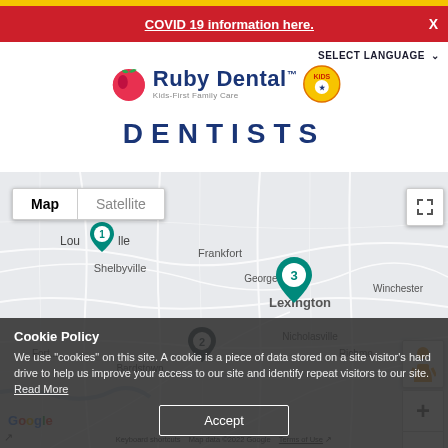COVID 19 information here. X
[Figure (logo): Ruby Dental Kids-First Family Care logo with apple icon and Kids logo badge]
DENTISTS
SELECT LANGUAGE
[Figure (map): Google Map showing Kentucky region with location pins: pin 1 near Louisville, pin 3 near Lexington/Georgetown, pin 2 near Bardstown area. Shows Map/Satellite toggle, fullscreen button, street view person, zoom controls. Cities visible: Louisville, Shelbyville, Frankfort, Georgetown, Lexington, Winchester, Nicholasville, Fort, Bardstown, Richmo.]
Cookie Policy
We use "cookies" on this site. A cookie is a piece of data stored on a site visitor's hard drive to help us improve your access to our site and identify repeat visitors to our site.
Read More
Accept
Keyboard shortcuts   Map data ©2022 Google   Terms of Use